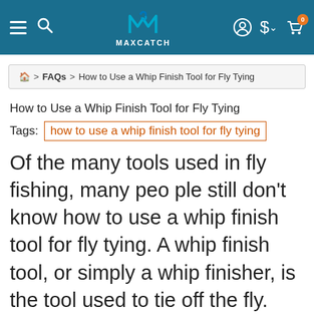[Figure (screenshot): Maxcatch website navigation bar with hamburger menu, search icon, Maxcatch logo, user icon, currency selector, and cart icon with badge showing 0]
🏠 > FAQs > How to Use a Whip Finish Tool for Fly Tying
How to Use a Whip Finish Tool for Fly Tying
Tags: how to use a whip finish tool for fly tying
Of the many tools used in fly fishing, many people still don't know how to use a whip finish tool for fly tying. A whip finish tool, or simply a whip finisher, is the tool used to tie off the fly. The use of this tool ensures that the thread remains unraveled when you are fishing. The tool helps you to properly tie your fly by making a secure knot at the end of the process. There are two m